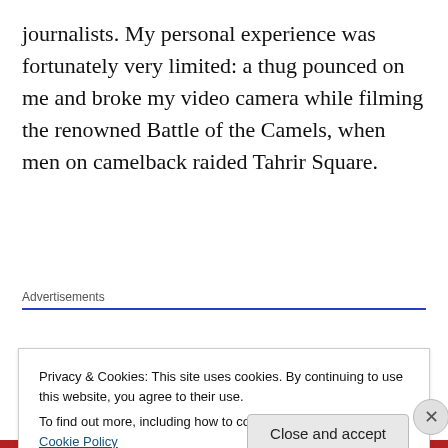journalists. My personal experience was fortunately very limited: a thug pounced on me and broke my video camera while filming the renowned Battle of the Camels, when men on camelback raided Tahrir Square.
Advertisements
But since then, I have become acutely aware that journalists are constantly targeted in my region and by people from my region. Journalists covering Israeli
Privacy & Cookies: This site uses cookies. By continuing to use this website, you agree to their use.
To find out more, including how to control cookies, see here: Cookie Policy
Close and accept